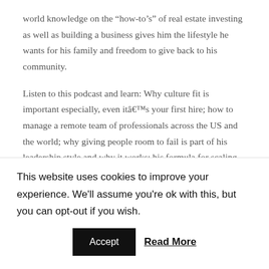world knowledge on the “how-to’s” of real estate investing as well as building a business gives him the lifestyle he wants for his family and freedom to give back to his community.
Listen to this podcast and learn: Why culture fit is important especially, even itâs your first hire; how to manage a remote team of professionals across the US and the world; why giving people room to fail is part of his leadership style and why it works; his formula for scaling his business: Hire Right!
This website uses cookies to improve your experience. We’ll assume you’re ok with this, but you can opt-out if you wish.
Accept | Read More